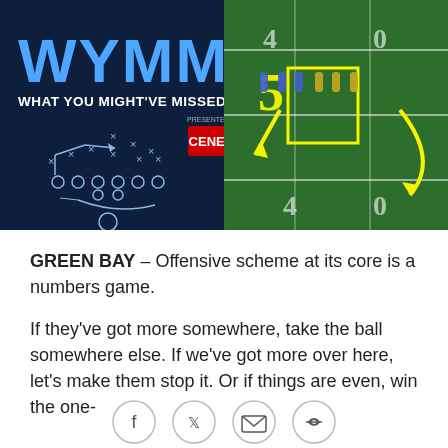[Figure (photo): A composite image: left side shows a dark blue background with 'WYMM - What You Might've Missed' text in large blue letters, a football play diagram with X's and O's, and a red Cenex logo. Right side shows a football game broadcast with yellow arrows and a number 5 annotation on the field, with players in blue and yellow/green uniforms.]
GREEN BAY – Offensive scheme at its core is a numbers game.
If they've got more somewhere, take the ball somewhere else. If we've got more over here, let's make them stop it. Or if things are even, win the one-